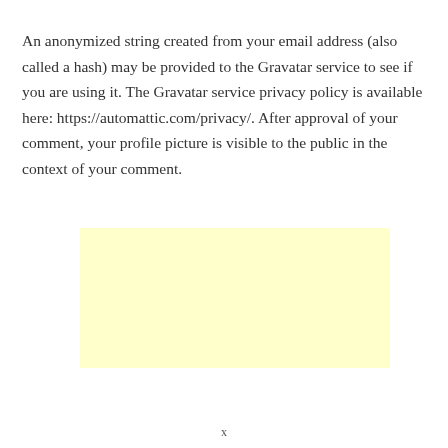An anonymized string created from your email address (also called a hash) may be provided to the Gravatar service to see if you are using it. The Gravatar service privacy policy is available here: https://automattic.com/privacy/. After approval of your comment, your profile picture is visible to the public in the context of your comment.
[Figure (other): A blank light yellow rectangle, likely a placeholder for an advertisement or content block.]
x